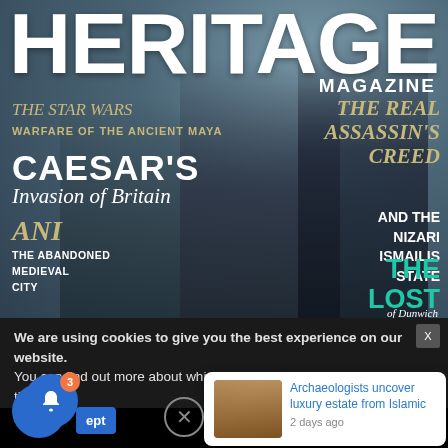HERITAGE
MAGAZINE
THE STAR WARS
WARFARE OF THE ANCIENT MAYA
CAESAR'S
Invasion of Britain
ANI
THE ABANDONED MEDIEVAL CITY
THE REAL ASSASSIN'S CREED
AND THE NIZARI ISMAILIS STATE
THE LOST TOWN
of Dunwich
[Figure (photo): Magazine cover showing Roman soldiers and a mounted horseman with shield against a dramatic sky]
We are using cookies to give you the best experience on our website.
You can find out more about which cookies we are using or switch them off i
[Figure (photo): Thumbnail image of an archaeological excavation site]
Archaeologists uncover luxury estate from Islamic
2 days ago